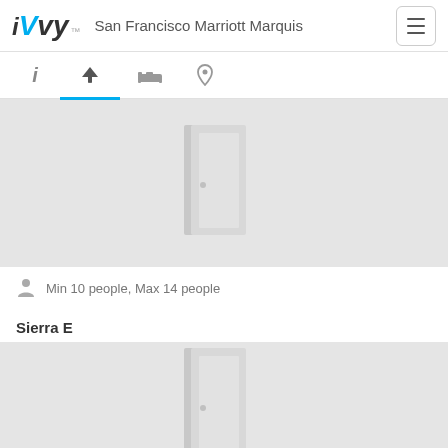iVvy  San Francisco Marriott Marquis
[Figure (screenshot): Navigation tabs: info (i), filter (cocktail glass, active with blue underline), bed, location pin]
[Figure (photo): Gray placeholder image with a 3D door icon representing a hotel meeting room]
Min 10 people, Max 14 people
Sierra E
[Figure (photo): Gray placeholder image with a 3D door icon representing a hotel meeting room (partially visible)]